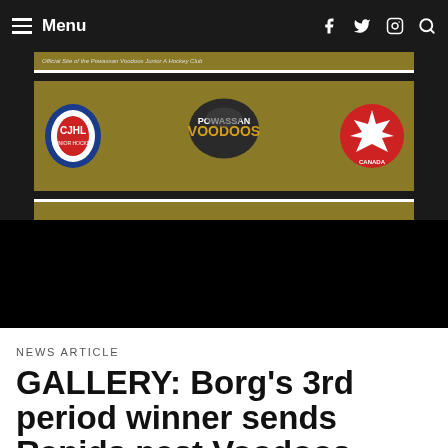Menu
[Figure (logo): Powassan Voodoos Junior A Hockey Club website banner with CJHL logo, Voodoos logo, and Hockey Canada logo on a gold and black background]
[Figure (photo): Black image area / hockey game photo (appears dark/loading)]
NEWS ARTICLE
GALLERY: Borg’s 3rd period winner sends Rapids past Voodoos
December 8, 2021